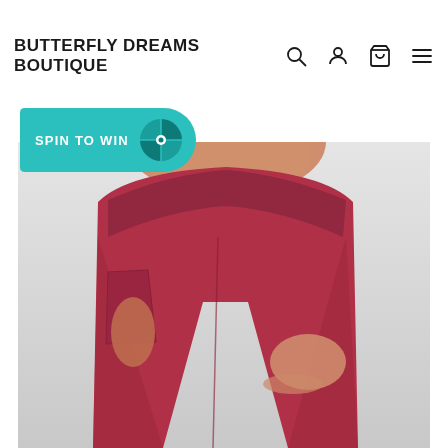BUTTERFLY DREAMS BOUTIQUE
[Figure (infographic): Spin to Win promotional banner with teal background and spinner wheel icon]
[Figure (photo): Woman wearing dark red/burgundy high-waist athletic leggings with side pockets, showing torso and legs, posed against light gray background]